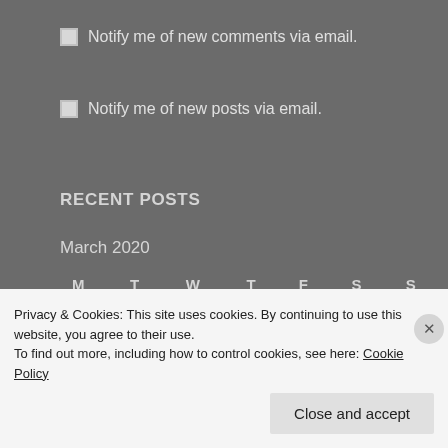Notify me of new comments via email.
Notify me of new posts via email.
RECENT POSTS
March 2020
| M | T | W | T | F | S | S |
| --- | --- | --- | --- | --- | --- | --- |
|  |  |  |  |  |  | 1 |
Privacy & Cookies: This site uses cookies. By continuing to use this website, you agree to their use.
To find out more, including how to control cookies, see here: Cookie Policy
Close and accept